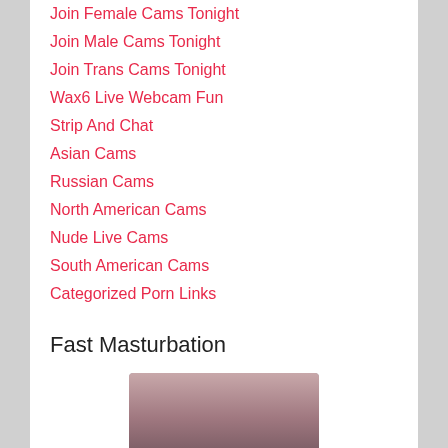Join Female Cams Tonight
Join Male Cams Tonight
Join Trans Cams Tonight
Wax6 Live Webcam Fun
Strip And Chat
Asian Cams
Russian Cams
North American Cams
Nude Live Cams
South American Cams
Categorized Porn Links
Live Chat Access
Fast Masturbation
[Figure (photo): Partial view of a person's face/head, cropped at bottom of page]